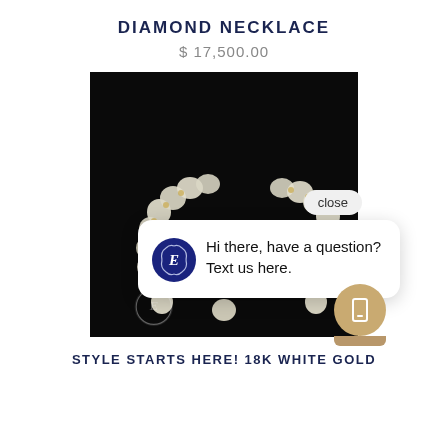DIAMOND NECKLACE
$ 17,500.00
[Figure (photo): Photo of a pearl/diamond necklace on black background with a chat popup overlay showing 'Hi there, have a question? Text us here.' and a close button, plus a gold mobile icon button]
STYLE STARTS HERE! 18K WHITE GOLD